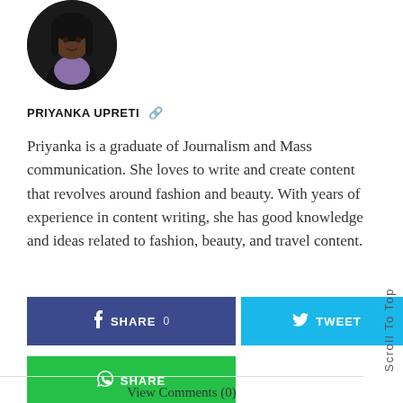[Figure (photo): Circular profile photo of Priyanka Upreti, a woman with dark hair]
PRIYANKA UPRETI
Priyanka is a graduate of Journalism and Mass communication. She loves to write and create content that revolves around fashion and beauty. With years of experience in content writing, she has good knowledge and ideas related to fashion, beauty, and travel content.
[Figure (infographic): Social share buttons: Facebook SHARE 0, Twitter TWEET, Pinterest PIN 0, WhatsApp SHARE]
View Comments (0)